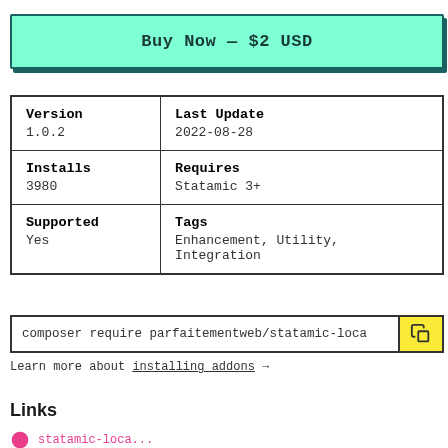Buy Now — $2 USD
|  |  |
| --- | --- |
| Version
1.0.2 | Last Update
2022-08-28 |
| Installs
3980 | Requires
Statamic 3+ |
| Supported
Yes | Tags
Enhancement, Utility, Integration |
composer require parfaitementweb/statamic-loca
Learn more about installing addons →
Links